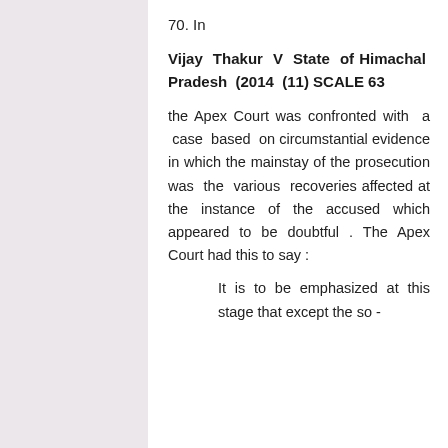70. In
Vijay Thakur V State of Himachal Pradesh (2014 (11) SCALE 63
the Apex Court was confronted with a case based on circumstantial evidence in which the mainstay of the prosecution was the various recoveries affected at the instance of the accused which appeared to be doubtful . The Apex Court had this to say :
It is to be emphasized at this stage that except the so -